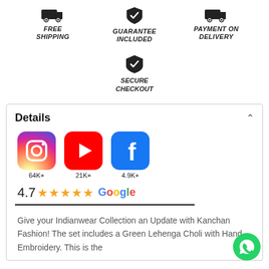[Figure (infographic): Three icons: truck (FREE SHIPPING), shield checkmark (GUARANTEE INCLUDED), truck (PAYMENT ON DELIVERY)]
[Figure (infographic): Shield with checkmark icon (SECURE CHECKOUT)]
Details
[Figure (infographic): Instagram icon with 64K+, YouTube icon with 21K+, Facebook icon with 4.9K+ followers]
4.7 ★★★★★ Google
Give your Indianwear Collection an Update with Kanchan Fashion! The set includes a Green Lehenga Choli with Hand Embroidery. This is the